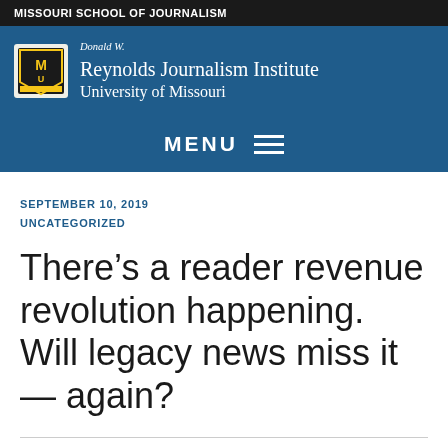MISSOURI SCHOOL OF JOURNALISM
[Figure (logo): Donald W. Reynolds Journalism Institute, University of Missouri logo with Mizzou tiger head shield]
MENU
SEPTEMBER 10, 2019
UNCATEGORIZED
There’s a reader revenue revolution happening. Will legacy news miss it — again?